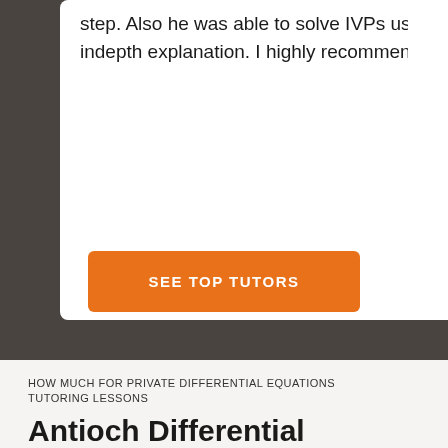step. Also he was able to solve IVPs using Laplace transformations and broke it down giving indepth explanation. I highly recommend him for College Differential Equations tutoring.
SEE TOP TUTORS
HOW MUCH FOR PRIVATE DIFFERENTIAL EQUATIONS TUTORING LESSONS
Antioch Differential Equations Tutors Cost $35 - 60 per hour on